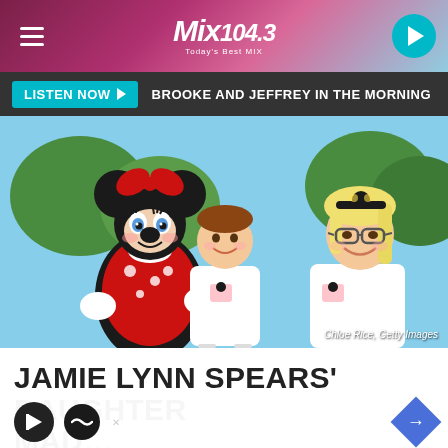Mix 104.3 — Today's Best MIX
LISTEN NOW ▶  BROOKE AND JEFFREY IN THE MORNING
[Figure (photo): Minnie Mouse character posing with a young girl and a blonde woman wearing glasses and a Minnie Mouse t-shirt, outdoors at what appears to be Disneyland. Credit: Chloe Rice, Getty Images]
Chloe Rice, Getty Images
JAMIE LYNN SPEARS' DAUGHTER MAD…